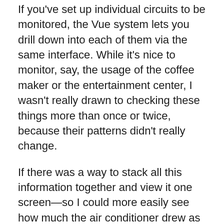If you've set up individual circuits to be monitored, the Vue system lets you drill down into each of them via the same interface. While it's nice to monitor, say, the usage of the coffee maker or the entertainment center, I wasn't really drawn to checking these things more than once or twice, because their patterns didn't really change.
If there was a way to stack all this information together and view it one screen—so I could more easily see how much the air conditioner drew as a portion of the total power consumption, for example—this might have been more useful. Also worth noting: the sensor for my dishwasher's circuit never recorded any data, for reasons I was never able to determine.
The Vue has no connections to other smart home